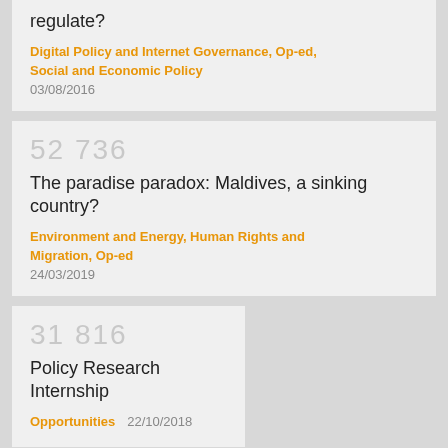regulate?
Digital Policy and Internet Governance, Op-ed, Social and Economic Policy
03/08/2016
52 736
The paradise paradox: Maldives, a sinking country?
Environment and Energy, Human Rights and Migration, Op-ed
24/03/2019
31 816
Policy Research Internship
Opportunities   22/10/2018
23 207
Apple, Ireland and the EU: considerations on just corporate tax regimes